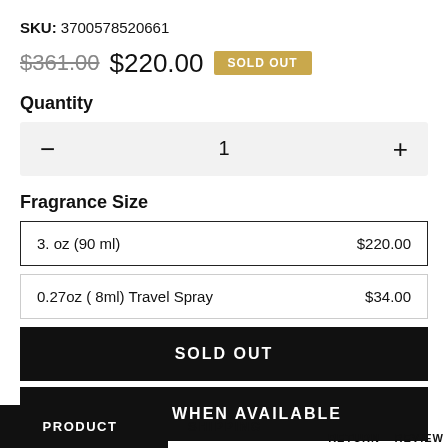SKU: 3700578520661
$361.00  $220.00  SOLD OUT
Quantity
— 1 +
Fragrance Size
| 3. oz (90 ml) | $220.00 |
| 0.27oz ( 8ml) Travel Spray | $34.00 |
SOLD OUT
EMAIL WHEN AVAILABLE
PRODUCT    SHIPPING    RETURN    REVIEW